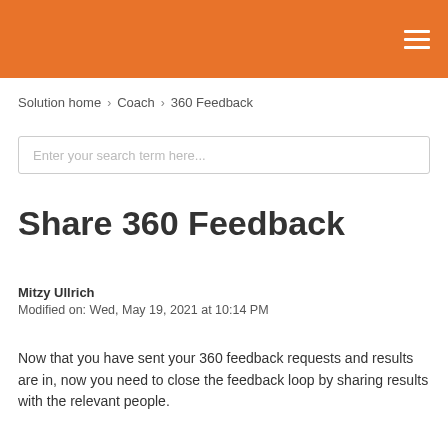Solution home › Coach › 360 Feedback
Enter your search term here...
Share 360 Feedback
Mitzy Ullrich
Modified on: Wed, May 19, 2021 at 10:14 PM
Now that you have sent your 360 feedback requests and results are in, now you need to close the feedback loop by sharing results with the relevant people.